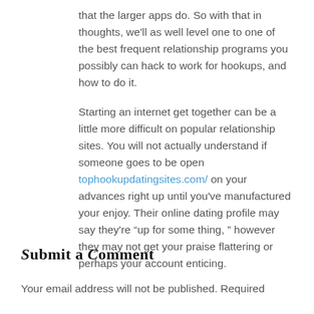that the larger apps do. So with that in thoughts, we'll as well level one to one of the best frequent relationship programs you possibly can hack to work for hookups, and how to do it.
Starting an internet get together can be a little more difficult on popular relationship sites. You will not actually understand if someone goes to be open tophookupdatingsites.com/ on your advances right up until you've manufactured your enjoy. Their online dating profile may say they're “up for some thing, ” however they may not get your praise flattering or perhaps your account enticing.
Submit a Comment
Your email address will not be published. Required